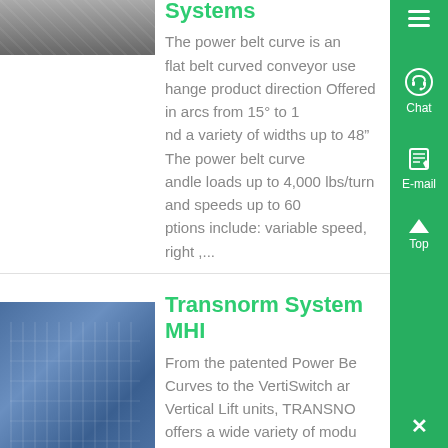[Figure (photo): Partial aerial/conveyor system image cropped at top]
Systems
The power belt curve is an flat belt curved conveyor use hange product direction Offered in arcs from 15° to 1 nd a variety of widths up to 48” The power belt curve andle loads up to 4,000 lbs/turn and speeds up to 60 ptions include: variable speed, right ,...
[Figure (photo): Industrial conveyor/machinery installation with blue structural components]
Transnorm System MHI
From the patented Power Be Curves to the VertiSwitch ar Vertical Lift units, TRANSNO offers a wide variety of modu